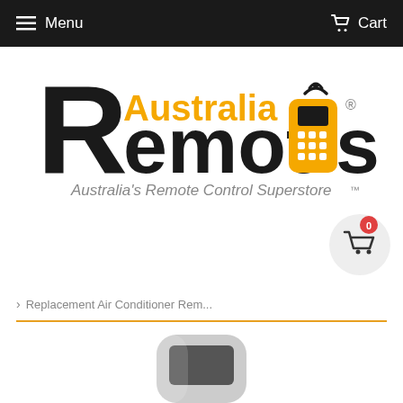Menu  Cart
[Figure (logo): Australia Remotes logo — 'R' in black with 'Australia' in orange, orange remote control graphic, tagline: Australia's Remote Control Superstore]
[Figure (infographic): Shopping cart bubble with badge showing 0]
> Replacement Air Conditioner Rem...
[Figure (photo): Partial view of a grey replacement air conditioner remote control]